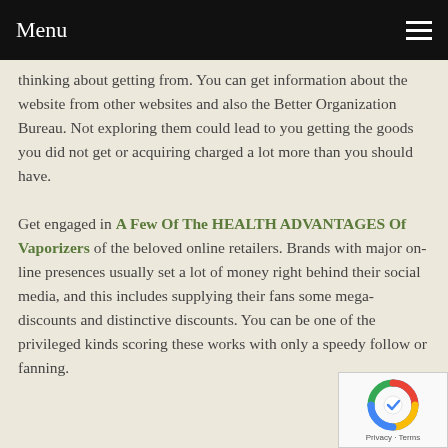Menu
thinking about getting from. You can get information about the website from other websites and also the Better Organization Bureau. Not exploring them could lead to you getting the goods you did not get or acquiring charged a lot more than you should have.
Get engaged in A Few Of The HEALTH ADVANTAGES Of Vaporizers of the beloved online retailers. Brands with major on-line presences usually set a lot of money right behind their social media, and this includes supplying their fans some mega-discounts and distinctive discounts. You can be one of the privileged kinds scoring these works with only a speedy follow or fanning.